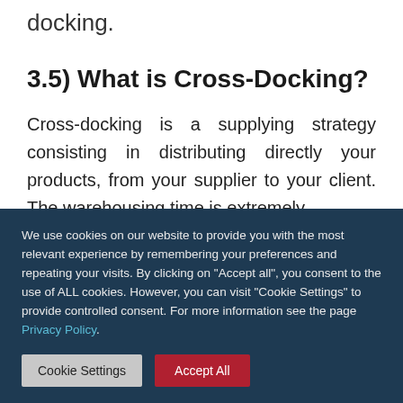docking.
3.5) What is Cross-Docking?
Cross-docking is a supplying strategy consisting in distributing directly your products, from your supplier to your client. The warehousing time is extremely
We use cookies on our website to provide you with the most relevant experience by remembering your preferences and repeating your visits. By clicking on "Accept all", you consent to the use of ALL cookies. However, you can visit "Cookie Settings" to provide controlled consent. For more information see the page Privacy Policy.